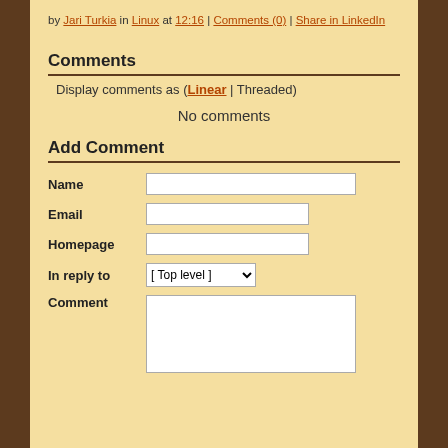by Jari Turkia in Linux at 12:16 | Comments (0) | Share in LinkedIn
Comments
Display comments as (Linear | Threaded)
No comments
Add Comment
|  |  |
| --- | --- |
| Name |  |
| Email |  |
| Homepage |  |
| In reply to | [ Top level ] |
| Comment |  |